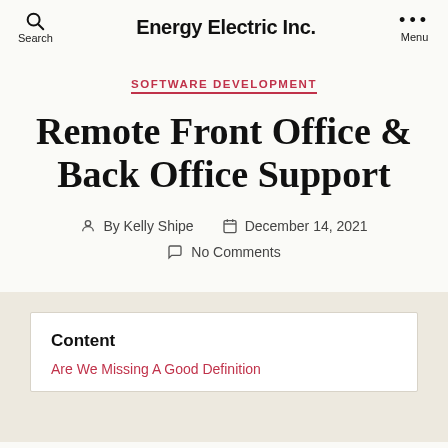Energy Electric Inc. | Search | Menu
SOFTWARE DEVELOPMENT
Remote Front Office & Back Office Support
By Kelly Shipe   December 14, 2021
No Comments
Content
Are We Missing A Good Definition